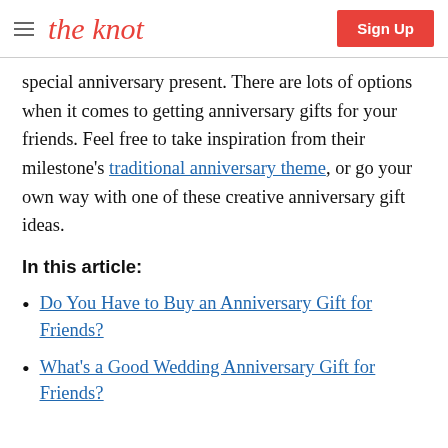the knot | Sign Up
special anniversary present. There are lots of options when it comes to getting anniversary gifts for your friends. Feel free to take inspiration from their milestone's traditional anniversary theme, or go your own way with one of these creative anniversary gift ideas.
In this article:
Do You Have to Buy an Anniversary Gift for Friends?
What's a Good Wedding Anniversary Gift for Friends?